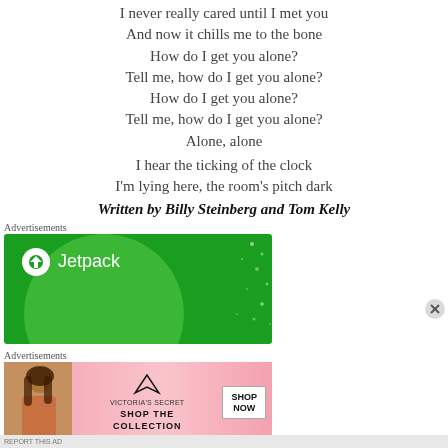I never really cared until I met you
And now it chills me to the bone
How do I get you alone?
Tell me, how do I get you alone?
How do I get you alone?
Tell me, how do I get you alone?
Alone, alone
I hear the ticking of the clock
I'm lying here, the room's pitch dark
Written by Billy Steinberg and Tom Kelly
Advertisements
[Figure (other): Jetpack advertisement banner with green background and Jetpack logo]
Advertisements
[Figure (other): Victoria's Secret advertisement banner with pink background, model photo, SHOP THE COLLECTION text, and SHOP NOW button]